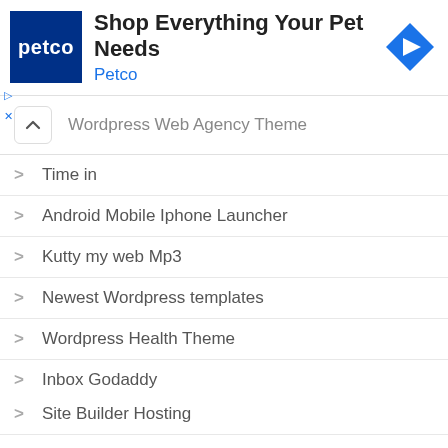[Figure (infographic): Petco advertisement banner with dark blue Petco logo, text 'Shop Everything Your Pet Needs' and 'Petco', blue diamond navigation icon on right, and ad markers on left]
Wordpress Web Agency Theme
Time in
Android Mobile Iphone Launcher
Kutty my web Mp3
Newest Wordpress templates
Wordpress Health Theme
Inbox Godaddy
Site Builder Hosting
Quadratraum Domain Provider
The Iphone Theme for Android
Discover which plugins a website uses.
Elegant Wpex
Installing a Wordpress Theme on Bluehost